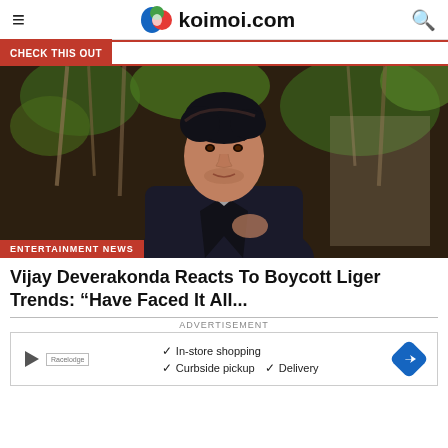koimoi.com
Check This Out
[Figure (photo): Young Indian male actor in black suit jacket, dark hair styled back, standing in front of foliage background. Red badge at bottom reads ENTERTAINMENT NEWS.]
Vijay Deverakonda Reacts To Boycott Liger Trends: “Have Faced It All...
ADVERTISEMENT
In-store shopping
Curbside pickup  Delivery